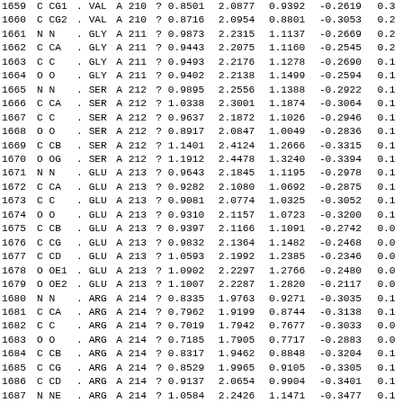| 1659 | C | CG1 | . | VAL | A | 210 | ? | 0.8501 | 2.0877 | 0.9392 | -0.2619 | 0.3 |
| 1660 | C | CG2 | . | VAL | A | 210 | ? | 0.8716 | 2.0954 | 0.8801 | -0.3053 | 0.2 |
| 1661 | N | N | . | GLY | A | 211 | ? | 0.9873 | 2.2315 | 1.1137 | -0.2669 | 0.2 |
| 1662 | C | CA | . | GLY | A | 211 | ? | 0.9443 | 2.2075 | 1.1160 | -0.2545 | 0.2 |
| 1663 | C | C | . | GLY | A | 211 | ? | 0.9493 | 2.2176 | 1.1278 | -0.2690 | 0.1 |
| 1664 | O | O | . | GLY | A | 211 | ? | 0.9402 | 2.2138 | 1.1499 | -0.2594 | 0.1 |
| 1665 | N | N | . | SER | A | 212 | ? | 0.9895 | 2.2556 | 1.1388 | -0.2922 | 0.1 |
| 1666 | C | CA | . | SER | A | 212 | ? | 1.0338 | 2.3001 | 1.1874 | -0.3064 | 0.1 |
| 1667 | C | C | . | SER | A | 212 | ? | 0.9637 | 2.1872 | 1.1026 | -0.2946 | 0.1 |
| 1668 | O | O | . | SER | A | 212 | ? | 0.8917 | 2.0847 | 1.0049 | -0.2836 | 0.1 |
| 1669 | C | CB | . | SER | A | 212 | ? | 1.1401 | 2.4124 | 1.2666 | -0.3315 | 0.1 |
| 1670 | O | OG | . | SER | A | 212 | ? | 1.1912 | 2.4478 | 1.3240 | -0.3394 | 0.1 |
| 1671 | N | N | . | GLU | A | 213 | ? | 0.9643 | 2.1845 | 1.1195 | -0.2978 | 0.1 |
| 1672 | C | CA | . | GLU | A | 213 | ? | 0.9282 | 2.1080 | 1.0692 | -0.2875 | 0.1 |
| 1673 | C | C | . | GLU | A | 213 | ? | 0.9081 | 2.0774 | 1.0325 | -0.3052 | 0.1 |
| 1674 | O | O | . | GLU | A | 213 | ? | 0.9310 | 2.1157 | 1.0723 | -0.3200 | 0.1 |
| 1675 | C | CB | . | GLU | A | 213 | ? | 0.9397 | 2.1166 | 1.1091 | -0.2742 | 0.0 |
| 1676 | C | CG | . | GLU | A | 213 | ? | 0.9832 | 2.1364 | 1.1482 | -0.2468 | 0.0 |
| 1677 | C | CD | . | GLU | A | 213 | ? | 1.0593 | 2.1992 | 1.2385 | -0.2346 | 0.0 |
| 1678 | O | OE1 | . | GLU | A | 213 | ? | 1.0902 | 2.2297 | 1.2766 | -0.2480 | 0.0 |
| 1679 | O | OE2 | . | GLU | A | 213 | ? | 1.1007 | 2.2287 | 1.2820 | -0.2117 | 0.0 |
| 1680 | N | N | . | ARG | A | 214 | ? | 0.8335 | 1.9763 | 0.9271 | -0.3035 | 0.1 |
| 1681 | C | CA | . | ARG | A | 214 | ? | 0.7962 | 1.9199 | 0.8744 | -0.3138 | 0.1 |
| 1682 | C | C | . | ARG | A | 214 | ? | 0.7019 | 1.7942 | 0.7677 | -0.3033 | 0.0 |
| 1683 | O | O | . | ARG | A | 214 | ? | 0.7185 | 1.7905 | 0.7717 | -0.2883 | 0.0 |
| 1684 | C | CB | . | ARG | A | 214 | ? | 0.8317 | 1.9462 | 0.8848 | -0.3204 | 0.1 |
| 1685 | C | CG | . | ARG | A | 214 | ? | 0.8529 | 1.9965 | 0.9105 | -0.3305 | 0.1 |
| 1686 | C | CD | . | ARG | A | 214 | ? | 0.9137 | 2.0654 | 0.9904 | -0.3401 | 0.1 |
| 1687 | N | NE | . | ARG | A | 214 | ? | 1.0584 | 2.2426 | 1.1471 | -0.3477 | 0.1 |
| 1688 | C | CZ | . | ARG | A | 214 | ? | 1.1199 | 2.3142 | 1.2240 | -0.2586 | 0.0 |